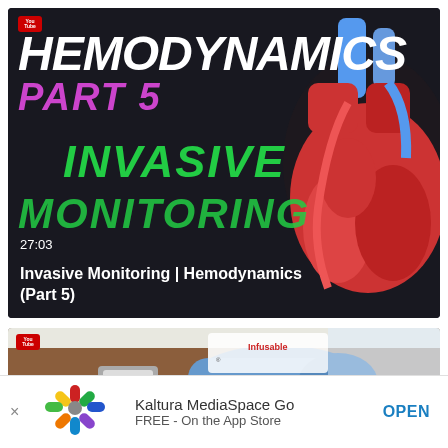[Figure (screenshot): YouTube video thumbnail for 'Invasive Monitoring | Hemodynamics (Part 5)'. Dark background with large white bold italic text 'HEMODYNAMICS', purple bold italic text 'PART 5', green bold italic text 'INVASIVE MONITORING', and an anatomical illustration of a heart on the right side. Timestamp 27:03 shown, video title 'Invasive Monitoring | Hemodynamics (Part 5)' at bottom.]
[Figure (screenshot): YouTube video thumbnail showing a gloved hand (blue medical glove) near a patient's arm with a watch, with an 'Infusable' medical product package visible in background.]
Kaltura MediaSpace Go
FREE - On the App Store
OPEN